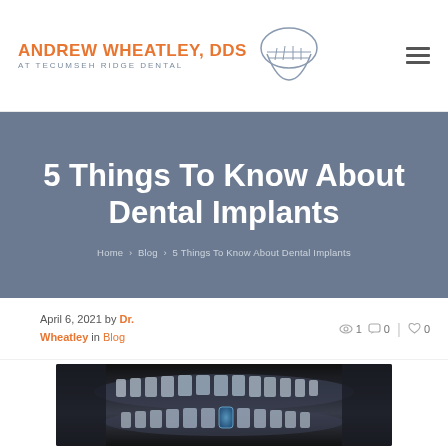ANDREW WHEATLEY, DDS AT TECUMSEH RIDGE DENTAL
5 Things To Know About Dental Implants
Home > Blog > 5 Things To Know About Dental Implants
April 6, 2021 by Dr. Wheatley in Blog
[Figure (photo): Panoramic dental X-ray showing teeth and jaw with dental implant highlighted in blue]